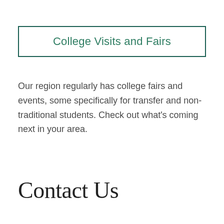College Visits and Fairs
Our region regularly has college fairs and events, some specifically for transfer and non-traditional students. Check out what's coming next in your area.
Contact Us